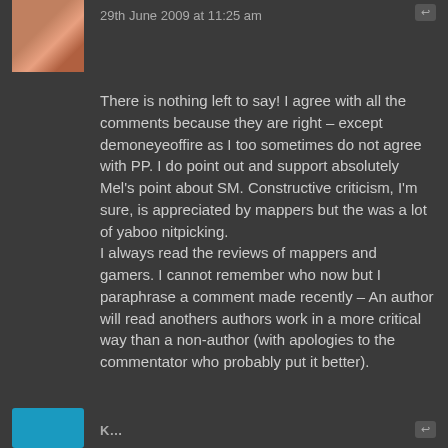[Figure (photo): User avatar thumbnail showing a reddish/skin-toned image, partially cropped at top]
29th June 2009 at 11:25 am
There is nothing left to say! I agree with all the comments because they are right – except demoneyeoffire as I too sometimes do not agree with PP. I do point out and support absolutely Mel's point about SM. Constructive criticism, I'm sure, is appreciated by mappers but the was a lot of yaboo nitpicking.
I always read the reviews of mappers and gamers. I cannot remember who now but I paraphrase a comment made recently – An author will read anothers authors work in a more critical way than a non-author (with apologies to the commentator who probably put it better).
[Figure (other): Blue rectangle avatar/icon at the bottom left]
K…